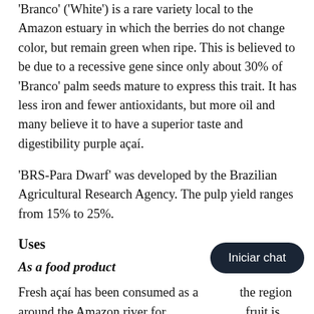'Branco' ('White') is a rare variety local to the Amazon estuary in which the berries do not change color, but remain green when ripe. This is believed to be due to a recessive gene since only about 30% of 'Branco' palm seeds mature to express this trait. It has less iron and fewer antioxidants, but more oil and many believe it to have a superior taste and digestibility purple açaí.
'BRS-Para Dwarf' was developed by the Brazilian Agricultural Research Agency. The pulp yield ranges from 15% to 25%.
Uses
As a food product
Fresh açaí has been consumed as a [dish] in the region around the Amazon river for [centuries]. The fruit is processed into pulp for supply to food product